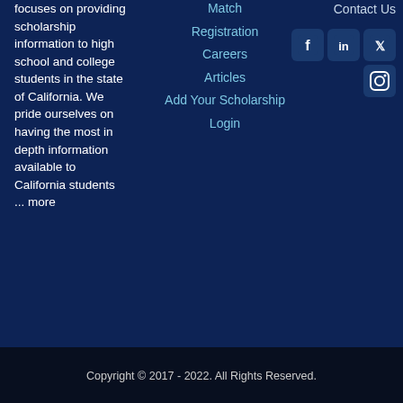focuses on providing scholarship information to high school and college students in the state of California. We pride ourselves on having the most in depth information available to California students ... more
Match
Registration
Careers
Articles
Add Your Scholarship
Login
Contact Us
[Figure (infographic): Social media icons: Facebook, LinkedIn, Twitter, Instagram on dark navy background]
Copyright © 2017 - 2022. All Rights Reserved.